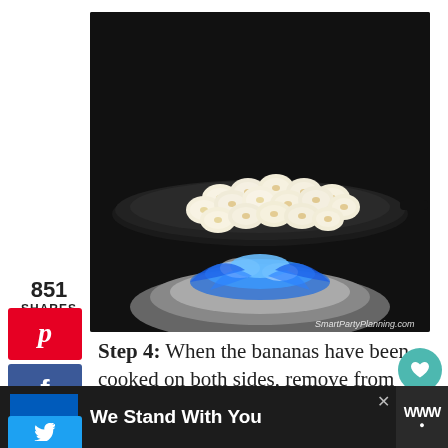[Figure (photo): Sliced bananas cooking in a large black skillet pan on a gas stove with blue flames visible beneath. Watermark text: SmartPartyPlanning.com]
851
SHARES
[Figure (infographic): Pinterest share button (red background, P icon)]
[Figure (infographic): Facebook share button (blue background, f icon)]
[Figure (infographic): Twitter share button (light blue background, bird icon)]
Step 4: When the bananas have been cooked on both sides, remove from the heat and cover the bananas with the honey and water
[Figure (infographic): Heart/like button (teal circle) with count 852 and share icon below]
[Figure (infographic): Ad banner: Ukrainian flag graphic, text 'We Stand With You', close X button, and logo icon on right]